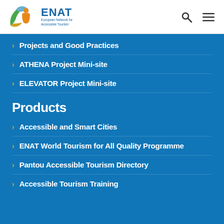[Figure (logo): ENAT European Network for Accessible Tourism logo with colorful leaf/figure icon]
Projects and Good Practices
ATHENA Project Mini-site
ELEVATOR Project Mini-site
Products
Accessible and Smart Cities
ENAT World Tourism for All Quality Programme
Pantou Accessible Tourism Directory
Accessible Tourism Training